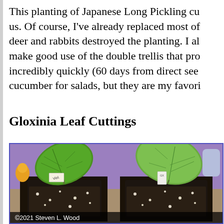This planting of Japanese Long Pickling cu… us. Of course, I've already replaced most of… deer and rabbits destroyed the planting. I al… make good use of the double trellis that pro… incredibly quickly (60 days from direct see… cucumber for salads, but they are my favori…
Gloxinia Leaf Cuttings
[Figure (photo): Two square black pots containing gloxinia leaf cuttings (large green leaves inserted into dark potting soil with white perlite), photographed indoors with a purple background. Small plant labels are inserted in each pot. Copyright 2021 Steven L. Wood watermark at bottom.]